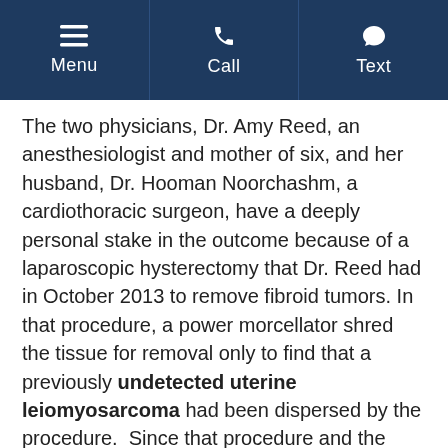Menu | Call | Text
The two physicians, Dr. Amy Reed, an anesthesiologist and mother of six, and her husband, Dr. Hooman Noorchashm, a cardiothoracic surgeon, have a deeply personal stake in the outcome because of a laparoscopic hysterectomy that Dr. Reed had in October 2013 to remove fibroid tumors. In that procedure, a power morcellator shred the tissue for removal only to find that a previously undetected uterine leiomyosarcoma had been dispersed by the procedure. Since that procedure and the discovery of the undetected sarcoma, Dr. Reed has had to undergo two additional cancer surgeries.